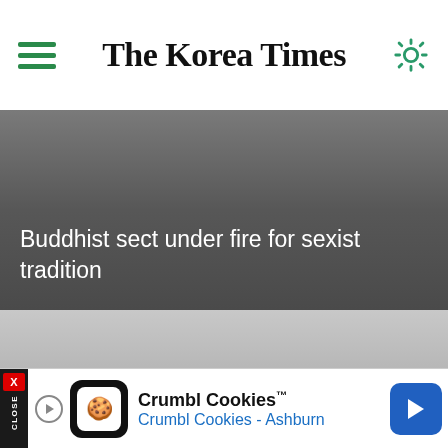The Korea Times
[Figure (photo): Dark gray gradient background image with white text overlay reading 'Buddhist sect under fire for sexist tradition']
Buddhist sect under fire for sexist tradition
[Figure (photo): Gray gradient background area representing a loading or blurred image, with a scroll-up button in the bottom right and AD label at the bottom]
AD
Crumbl Cookies™ Crumbl Cookies - Ashburn